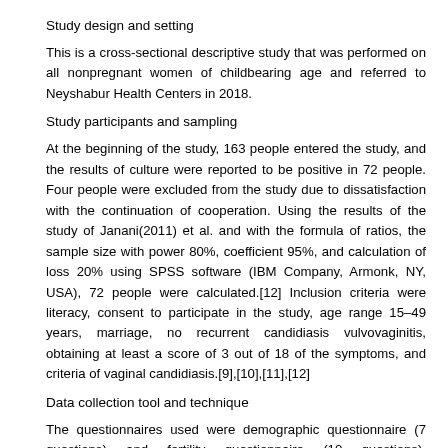Study design and setting
This is a cross-sectional descriptive study that was performed on all nonpregnant women of childbearing age and referred to Neyshabur Health Centers in 2018.
Study participants and sampling
At the beginning of the study, 163 people entered the study, and the results of culture were reported to be positive in 72 people. Four people were excluded from the study due to dissatisfaction with the continuation of cooperation. Using the results of the study of Janani(2011) et al. and with the formula of ratios, the sample size with power 80%, coefficient 95%, and calculation of loss 20% using SPSS software (IBM Company, Armonk, NY, USA), 72 people were calculated.[12] Inclusion criteria were literacy, consent to participate in the study, age range 15–49 years, marriage, no recurrent candidiasis vulvovaginitis, obtaining at least a score of 3 out of 18 of the symptoms, and criteria of vaginal candidiasis.[9],[10],[11],[12]
Data collection tool and technique
The questionnaires used were demographic questionnaire (7 questions) and fertility questionnaire (10 questions), questionnaire to diagnose the signs and symptoms of candidiasis. The questionnaire of personal characteristics and fertility was prepared according to the objectives of